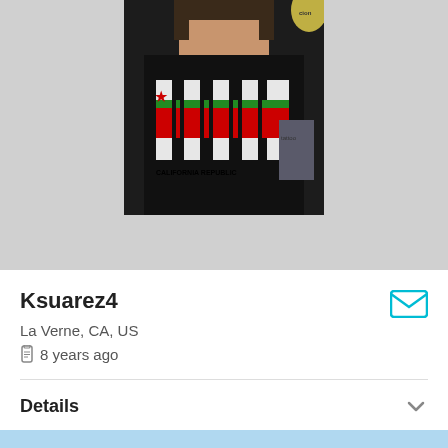[Figure (photo): Profile photo of a person wearing a black California Republic graphic t-shirt, cropped from shoulders up, against a gray background]
Ksuarez4
La Verne, CA, US
8 years ago
Details